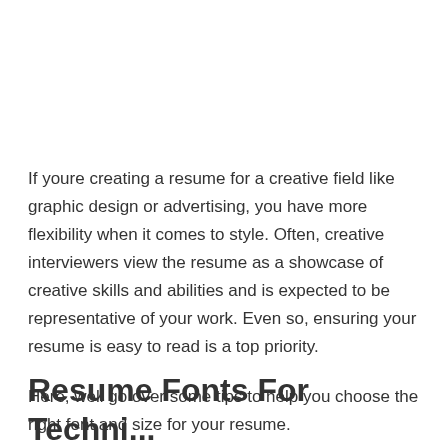If youre creating a resume for a creative field like graphic design or advertising, you have more flexibility when it comes to style. Often, creative interviewers view the resume as a showcase of creative skills and abilities and is expected to be representative of your work. Even so, ensuring your resume is easy to read is a top priority.
Here, well go over some tips to help you choose the right font and size for your resume.
Resume Fonts For Techni...